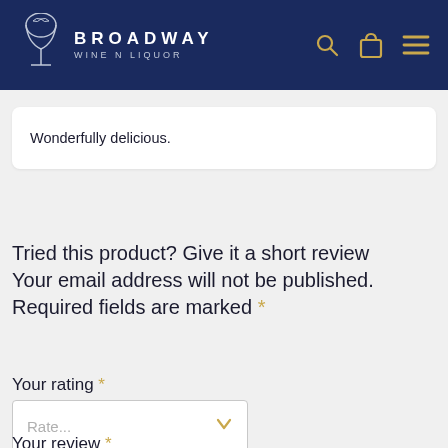BROADWAY WINE N LIQUOR
Wonderfully delicious.
Tried this product? Give it a short review Your email address will not be published. Required fields are marked *
Your rating *
Rate...
Your review *